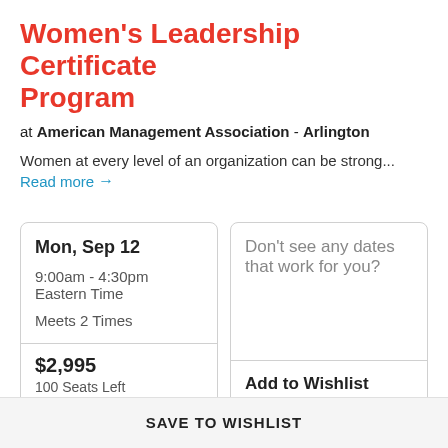Women's Leadership Certificate Program
at American Management Association - Arlington
Women at every level of an organization can be strong...
Read more →
| Mon, Sep 12 | Don't see any dates that work for you? |
| 9:00am - 4:30pm Eastern Time |  |
| Meets 2 Times |  |
| $2,995 | Add to Wishlist |
| 100 Seats Left |  |
SAVE TO WISHLIST